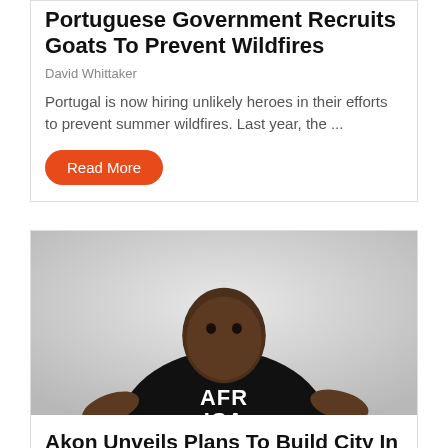Portuguese Government Recruits Goats To Prevent Wildfires
David Whittaker
Portugal is now hiring unlikely heroes in their efforts to prevent summer wildfires. Last year, the ...
Read More
[Figure (photo): A man wearing a black t-shirt with 'AFRICA' printed on it, gesturing with both hands against a light background]
Akon Unveils Plans To Build City In Senegal With 'AKoin' Cryptocurrency